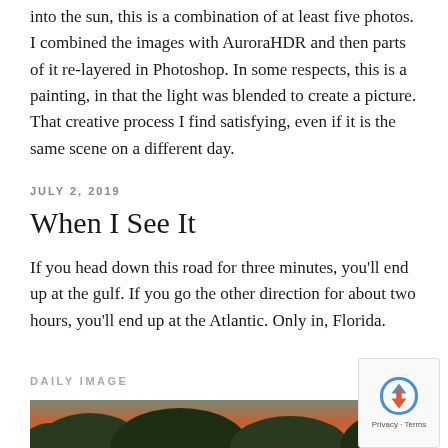into the sun, this is a combination of at least five photos. I combined the images with AuroraHDR and then parts of it re-layered in Photoshop. In some respects, this is a painting, in that the light was blended to create a picture. That creative process I find satisfying, even if it is the same scene on a different day.
JULY 2, 2019
When I See It
If you head down this road for three minutes, you'll end up at the gulf. If you go the other direction for about two hours, you'll end up at the Atlantic. Only in, Florida.
DAILY IMAGE
[Figure (photo): Outdoor nature photo showing trees with orange/reddish light, partial view at bottom of page]